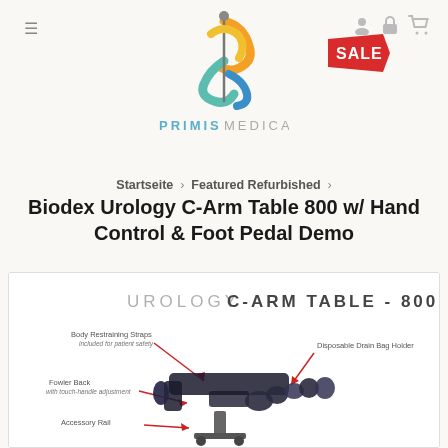[Figure (logo): Primis Medical logo with stylized spiral/ribbon design and text PRIMIS MEDICAL]
[Figure (other): Red SALE banner badge in top right area]
Startseite › Featured Refurbished ›
Biodex Urology C-Arm Table 800 w/ Hand Control & Foot Pedal Demo
[Figure (photo): Product diagram of Urology C-Arm Table - 800 showing Body Restraining Straps included for patient safety, Fowler Back with touch-handle adjustment, Accessory Rail, and Disposable Drain Bag Holder with red arrows pointing to features]